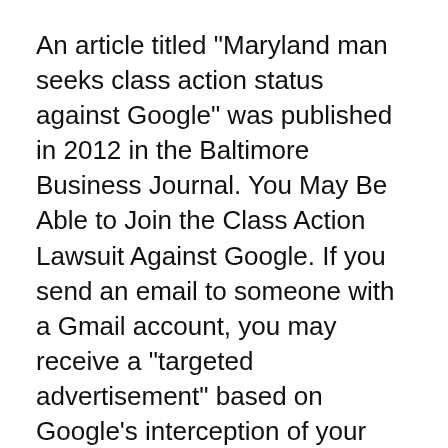An article titled "Maryland man seeks class action status against Google" was published in 2012 in the Baltimore Business Journal. You May Be Able to Join the Class Action Lawsuit Against Google. If you send an email to someone with a Gmail account, you may receive a "targeted advertisement" based on Google's interception of your email.
Jul 18, 2020 google: Why Google faces a $5 billion class action lawsuit Jun 08, 2020 Google in $5bn lawsuit for tracking in 'private' mode Jun 03, 2020